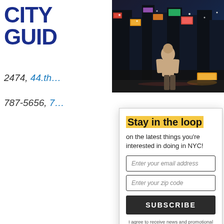[Figure (logo): City Guide logo in dark blue bold text]
[Figure (photo): Times Square NYC street scene at night with neon signs and a person in a beige hoodie]
2474, 44.th…
787-5656, 7…
Marea
Located ac… makes a pi…
Stay in the loop
on the latest things you're interested in doing in NYC!
Enter your email address
Enter your zip code
SUBSCRIBE
I agree to receive news and promotional material from this website and understand I can cancel at any time.